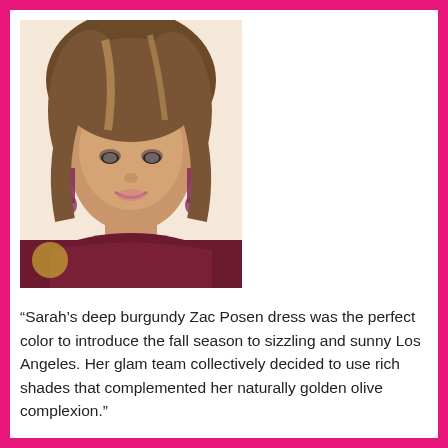[Figure (photo): Portrait photo of a woman with short wavy brown/blonde hair, wearing dangling earrings and a deep burgundy off-shoulder dress.]
“Sarah’s deep burgundy Zac Posen dress was the perfect color to introduce the fall season to sizzling and sunny Los Angeles. Her glam team collectively decided to use rich shades that complemented her naturally golden olive complexion.”